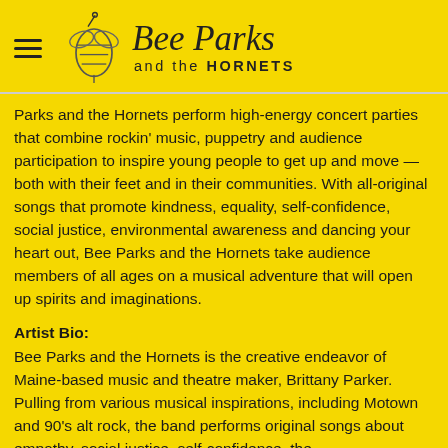Bee Parks and the HORNETS
Parks and the Hornets perform high-energy concert parties that combine rockin' music, puppetry and audience participation to inspire young people to get up and move — both with their feet and in their communities. With all-original songs that promote kindness, equality, self-confidence, social justice, environmental awareness and dancing your heart out, Bee Parks and the Hornets take audience members of all ages on a musical adventure that will open up spirits and imaginations.
Artist Bio:
Bee Parks and the Hornets is the creative endeavor of Maine-based music and theatre maker, Brittany Parker. Pulling from various musical inspirations, including Motown and 90's alt rock, the band performs original songs about empathy, social justice, self-confidence, the